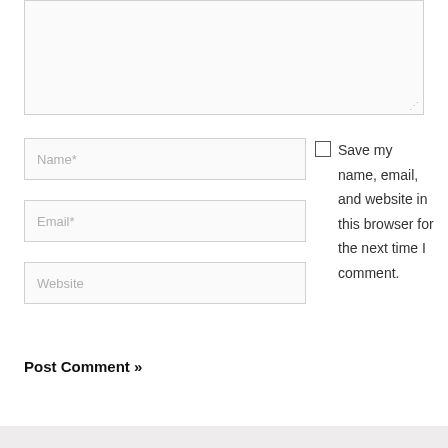[Figure (screenshot): A comment form textarea (partially visible, top portion) with a resize handle at the bottom-right corner.]
Name*
Email*
Website
Save my name, email, and website in this browser for the next time I comment.
Post Comment »